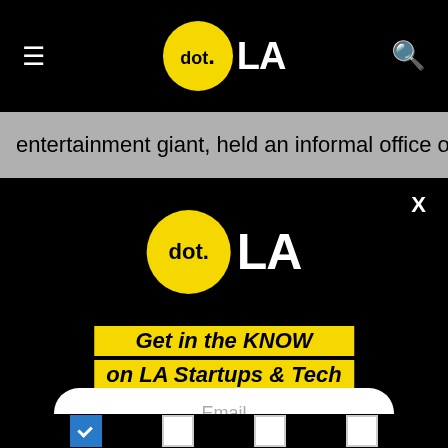dot.LA navigation bar with hamburger menu and search icon
entertainment giant, held an informal office opening in
[Figure (logo): dot.LA logo: yellow circle with 'dot.' text and 'LA' in white on black background]
Get in the KNOW on LA Startups & Tech
Email